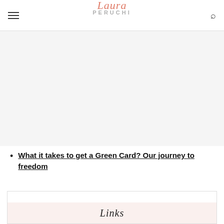Laura Peruchi
[Figure (other): Advertisement or empty content area below the header]
What it takes to get a Green Card? Our journey to freedom
[Figure (other): Widget box with 'Links' section header at bottom, on a light pink background]